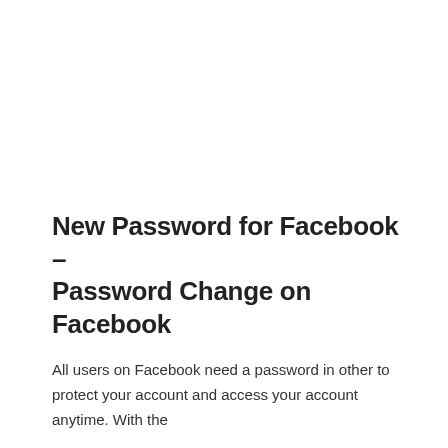New Password for Facebook – Password Change on Facebook
All users on Facebook need a password in other to protect your account and access your account anytime. With the
Continue reading »